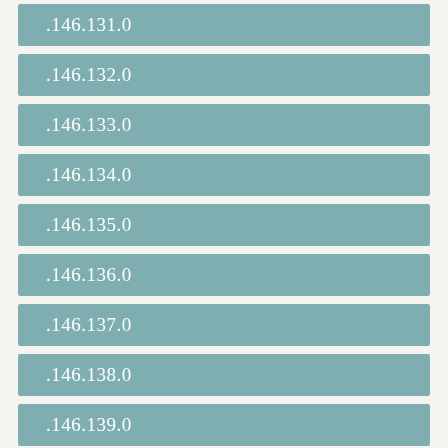.146.131.0
.146.132.0
.146.133.0
.146.134.0
.146.135.0
.146.136.0
.146.137.0
.146.138.0
.146.139.0
.146.140.0